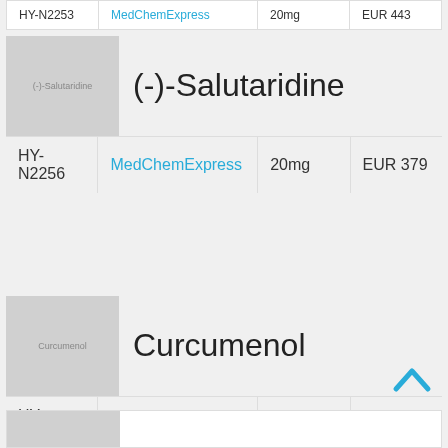| ID | Vendor | Amount | Price |
| --- | --- | --- | --- |
| HY-N2253 | MedChemExpress | 20mg | EUR 443 |
[Figure (photo): Product image placeholder for (-)-Salutaridine with gray background]
(-)-Salutaridine
| ID | Vendor | Amount | Price |
| --- | --- | --- | --- |
| HY-N2256 | MedChemExpress | 20mg | EUR 379 |
[Figure (photo): Product image placeholder for Curcumenol with gray background]
Curcumenol
| ID | Vendor | Amount | Price |
| --- | --- | --- | --- |
| HY-N2259 | MedChemExpress | 25mg | EUR 383 |